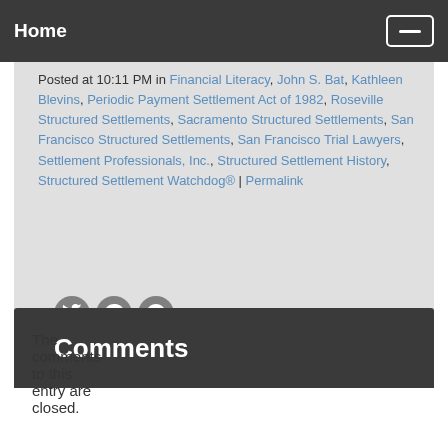Home
Posted at 10:11 PM in Financial Literacy, John S. Bat, Kathleen Blevins, Periodic Payment Settlement Act of 1982, Roseville Structured Settlements, Sacramento Structured Settlements, San Francisco Structured Settlements, San Francisco Trial Lawyers, Settlement Professionals, Inc., Structured Settlement History, Structured Settlement Watchdog® | Permalink
Comments
The comments to this entry are closed.